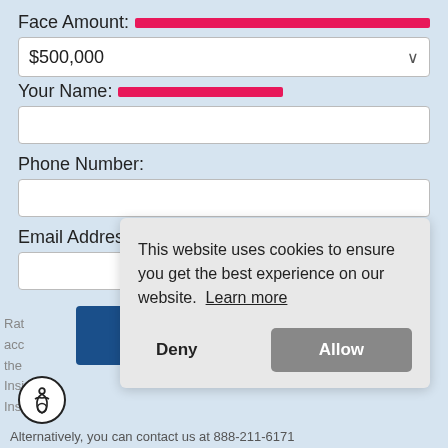Face Amount:
$500,000
Your Name:
Phone Number:
Email Address:
DISPLAY QUOTES
This website uses cookies to ensure you get the best experience on our website. Learn more
Deny
Allow
Alternatively, you can contact us at 888-211-6171